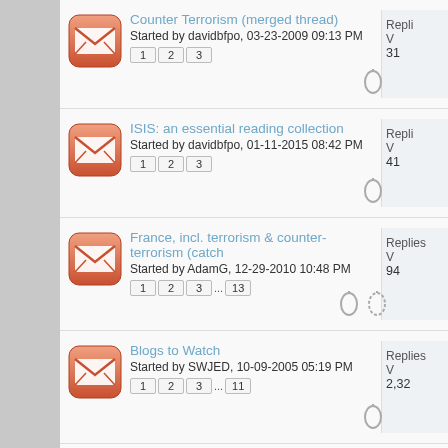Counter Terrorism (merged thread) — Started by davidbfpo, 03-23-2009 09:13 PM — Pages: 1 2 3 — Replies: 31
ISIS: an essential reading collection — Started by davidbfpo, 01-11-2015 08:42 PM — Pages: 1 2 3 — Replies: 41
France, incl. terrorism & counter-terrorism (catch — Started by AdamG, 12-29-2010 10:48 PM — Pages: 1 2 3 ... 13 — Replies: 94
Blogs to Watch — Started by SWJED, 10-09-2005 05:19 PM — Pages: 1 2 3 ... 11 — Replies: 2,32
Mainly terrorism in Indonesia: catch all — Started by SDSchippert, 10-03-2005 12:44 PM — Pages: 1 2 3 ... 6 — Replies: 53